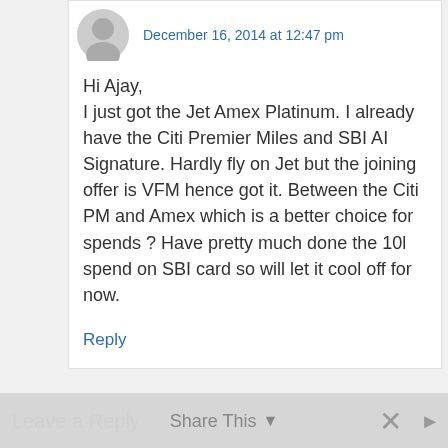December 16, 2014 at 12:47 pm
Hi Ajay,
I just got the Jet Amex Platinum. I already have the Citi Premier Miles and SBI AI Signature. Hardly fly on Jet but the joining offer is VFM hence got it. Between the Citi PM and Amex which is a better choice for spends ? Have pretty much done the 10l spend on SBI card so will let it cool off for now.
Reply
Leave a Reply
Share This